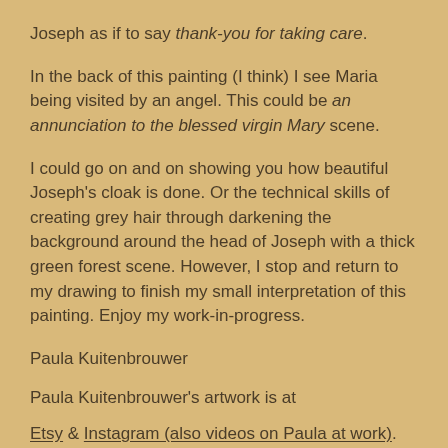Joseph as if to say thank-you for taking care.
In the back of this painting (I think) I see Maria being visited by an angel. This could be an annunciation to the blessed virgin Mary scene.
I could go on and on showing you how beautiful Joseph's cloak is done. Or the technical skills of creating grey hair through darkening the background around the head of Joseph with a thick green forest scene. However, I stop and return to my drawing to finish my small interpretation of this painting. Enjoy my work-in-progress.
Paula Kuitenbrouwer
Paula Kuitenbrouwer's artwork is at
Etsy & Instagram (also videos on Paula at work).